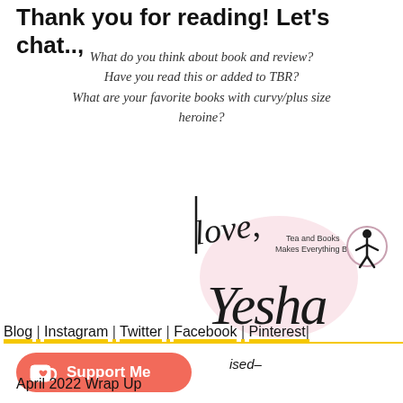Thank you for reading! Let's chat..,
What do you think about book and review?
Have you read this or added to TBR?
What are your favorite books with curvy/plus size heroine?
[Figure (illustration): Handwritten-style signature logo reading 'Love, Yesha' with a pink watercolor blob behind it, small text 'Tea and Books Makes Everything B' and an accessibility icon circle.]
Blog | Instagram | Twitter | Facebook | Pinterest |
[Figure (other): Ko-fi Support Me button (red/salmon rounded button with cup icon)]
ised-
April 2022 Wrap Up